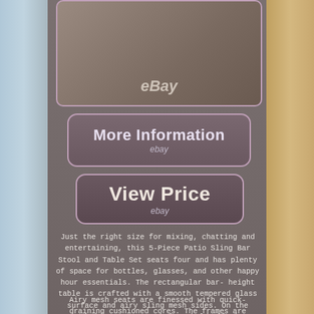[Figure (photo): Product photo of a patio bar stool and table set, shown from above at an angle, with eBay watermark logo]
[Figure (other): More Information button with eBay branding]
[Figure (other): View Price button with eBay branding]
Just the right size for mixing, chatting and entertaining, this 5-Piece Patio Sling Bar Stool and Table Set seats four and has plenty of space for bottles, glasses, and other happy hour essentials. The rectangular bar-height table is crafted with a smooth tempered glass surface and airy sling mesh sides. On the backside, two open shelves hold all the beverages and snacks you need to get through the party. The stools are sleek and modern with just the right amount of presence for a patio, porch, or deck.
Airy mesh seats are finessed with quick-draining cushioned cores. The frames are crafted in durable steel and protected with a